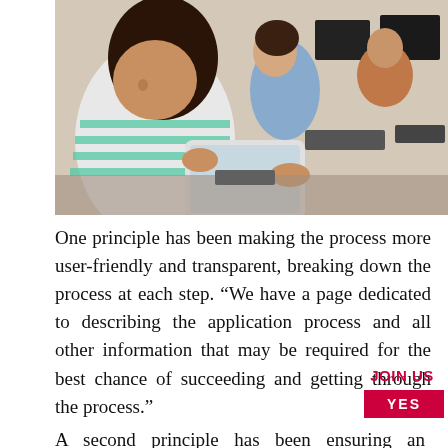[Figure (photo): Students sitting in a row at computer desks in a classroom. A girl in the foreground wears a striped top and holds a tablet. Other students are working at desktop computers in the background.]
One principle has been making the process more user-friendly and transparent, breaking down the process at each step. “We have a page dedicated to describing the application process and all other information that may be required for the best chance of succeeding and getting through the process.”
JOIN US
YES
A second principle has been ensuring an inclusiv